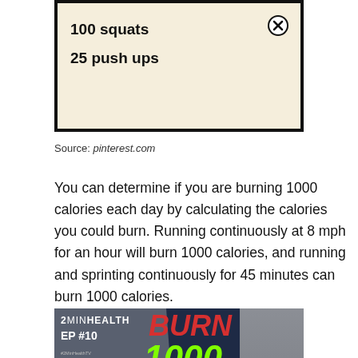[Figure (illustration): Partial workout card showing '100 squats' and '25 push ups' in bold text on a cream/beige background with black border, and a close/X icon in the top right corner.]
Source: pinterest.com
You can determine if you are burning 1000 calories each day by calculating the calories you could burn. Running continuously at 8 mph for an hour will burn 1000 calories, and running and sprinting continuously for 45 minutes can burn 1000 calories.
[Figure (infographic): 2MinHealth EP #10 infographic with bold red text 'BURN' and green text '1000 CALORIES IN JUST [X] DAY' on dark navy background, with a person's torso on the right side.]